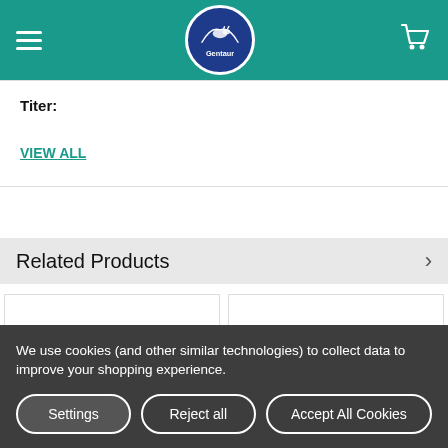Gentaur - navigation header with logo, hamburger menu, and cart icon
Titer:
VIEW ALL
Related Products
[Figure (logo): ABM orange/yellow gradient ball logo in product card 1]
[Figure (logo): ABM orange/yellow gradient ball logo in product card 2]
We use cookies (and other similar technologies) to collect data to improve your shopping experience.
Settings
Reject all
Accept All Cookies